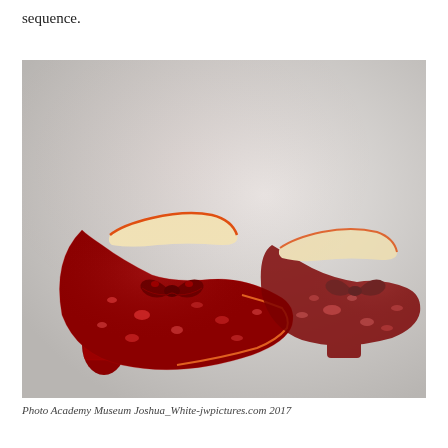sequence.
[Figure (photo): A pair of ruby red sequined slippers with bow decorations and low heels, displayed on a light gray background. These are the iconic ruby slippers from The Wizard of Oz.]
Photo Academy Museum Joshua_White-jwpictures.com 2017